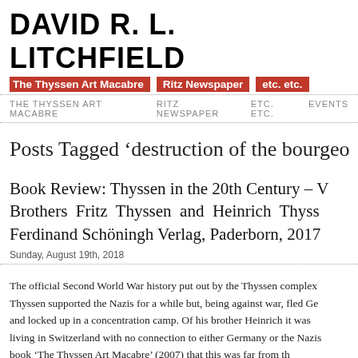DAVID R. L. LITCHFIELD
The Thyssen Art Macabre   Ritz Newspaper   etc. etc.
THE THYSSEN ART MACABRE   RITZ NEWSPAPER   ETC. ETC.   EVENTS
Posts Tagged 'destruction of the bourgeo…'
Book Review: Thyssen in the 20th Century – V… Brothers Fritz Thyssen and Heinrich Thyss… Ferdinand Schöningh Verlag, Paderborn, 2017
Sunday, August 19th, 2018
The official Second World War history put out by the Thyssen complex… Thyssen supported the Nazis for a while but, being against war, fled Ge… and locked up in a concentration camp. Of his brother Heinrich it was… living in Switzerland with no connection to either Germany or the Nazis… book 'The Thyssen Art Macabre' (2007) that this was far from th… Foundation launched an academic response, which this book forms pa…